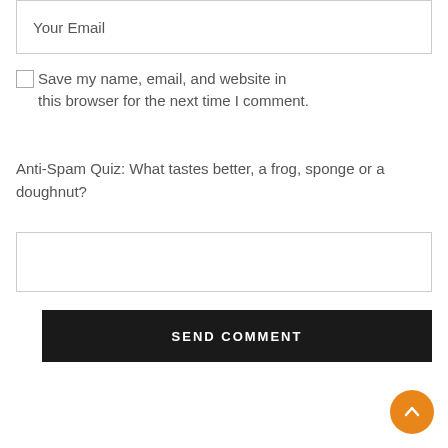Your Email
Save my name, email, and website in this browser for the next time I comment.
Anti-Spam Quiz: What tastes better, a frog, sponge or a doughnut?
SEND COMMENT